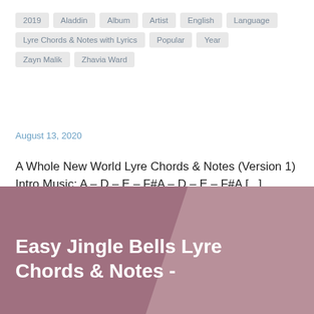2019
Aladdin
Album
Artist
English
Language
Lyre Chords & Notes with Lyrics
Popular
Year
Zayn Malik
Zhavia Ward
August 13, 2020
A Whole New World Lyre Chords & Notes (Version 1) Intro Music: A – D – E – F#A – D – E – F#A [...]
Continue reading »
Easy Jingle Bells Lyre Chords & Notes -